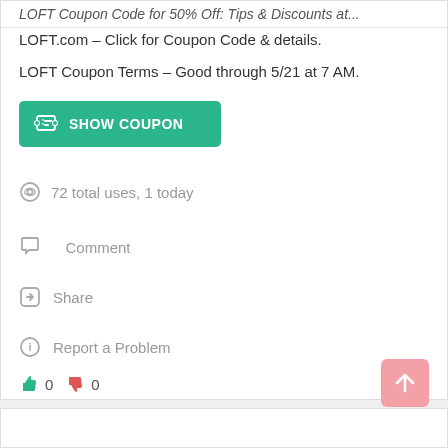LOFT Coupon Code for 50% Off: Top Discounts at...
LOFT.com – Click for Coupon Code & details.
LOFT Coupon Terms – Good through 5/21 at 7 AM.
[Figure (other): Green SHOW COUPON button with ticket icon]
72 total uses, 1 today
Comment
Share
Report a Problem
0  0
[Figure (other): Pink up-arrow scroll-to-top button]